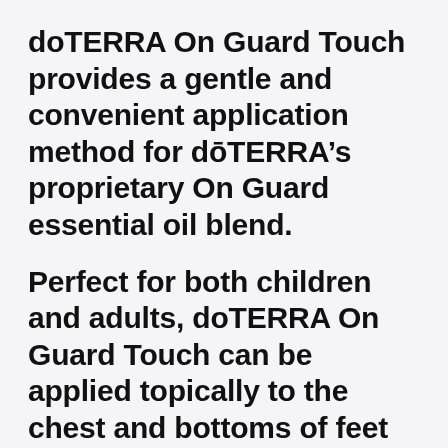doTERRA On Guard Touch provides a gentle and convenient application method for dōTERRA's proprietary On Guard essential oil blend.
Perfect for both children and adults, doTERRA On Guard Touch can be applied topically to the chest and bottoms of feet when seasonal threats are high and to experience its energising, uplifting aroma. Wild Orange, Clove, Cinnamon, Eucalyptus and Rosemary oil...